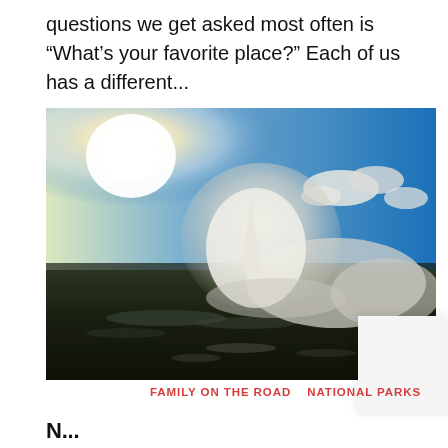questions we get asked most often is “What’s your favorite place?” Each of us has a different…
[Figure (photo): Outdoor photograph of a geyser or hot spring erupting with large plumes of white steam/mist against a bright blue sky with the sun blazing in the upper left. Dark ground/landscape in the foreground with wet reflective surface.]
FAMILY ON THE ROAD   NATIONAL PARKS
N…